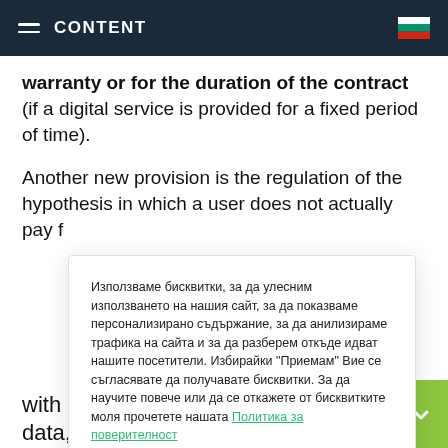CONTENT
warranty or for the duration of the contract (if a digital service is provided for a fixed period of time).
Another new provision is the regulation of the hypothesis in which a user does not actually pay f
Използваме бисквитки, за да улесним използването на нашия сайт, за да показваме персонализирано съдържание, за да анилизираме трафика на сайта и за да разберем откъде идват нашите посетители. Избирайки "Приемам" Вие се съгласявате да получавате бисквитки. За да научите повече или да се откажете от бисквитките моля прочетете нашата Политика за поверителност
Приемам
with money, but by providing personal data,